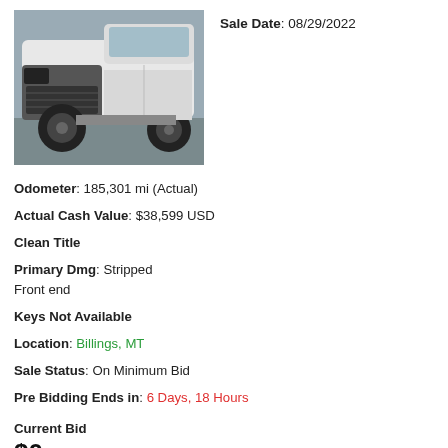[Figure (photo): Front view of a white pickup truck with front end stripped/damaged, showing exposed components]
Sale Date: 08/29/2022
Odometer: 185,301 mi (Actual)
Actual Cash Value: $38,599 USD
Clean Title
Primary Dmg: Stripped Front end
Keys Not Available
Location: Billings, MT
Sale Status: On Minimum Bid
Pre Bidding Ends in: 6 Days, 18 Hours
Current Bid
$0 USD